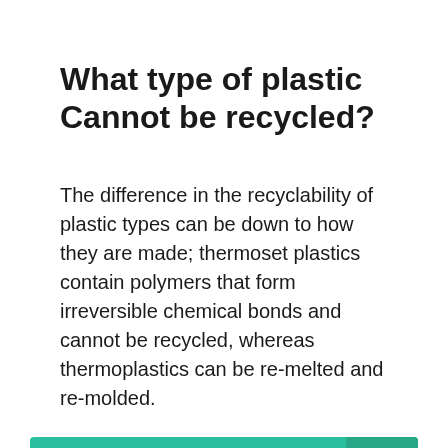What type of plastic Cannot be recycled?
The difference in the recyclability of plastic types can be down to how they are made; thermoset plastics contain polymers that form irreversible chemical bonds and cannot be recycled, whereas thermoplastics can be re-melted and re-molded.
IT IS AMAZING: Is ecology a pure science?
Is 100% recycled plastic real?